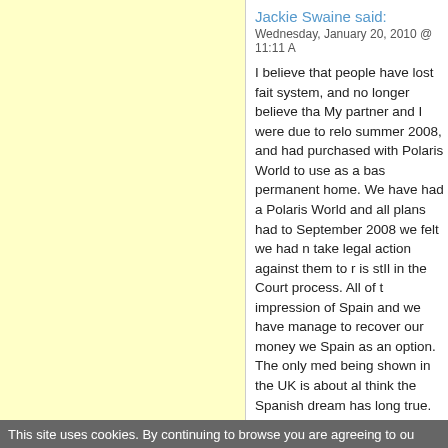Jackie Swaine said:
Wednesday, January 20, 2010 @ 11:11 A
I believe that people have lost fait system, and no longer believe tha My partner and I were due to relo summer 2008, and had purchased with Polaris World to use as a bas permanent home. We have had a Polaris World and all plans had to September 2008 we felt we had n take legal action against them to r is stIl in the Court process. All of t impression of Spain and we have manage to recover our money we Spain as an option. The only med being shown in the UK is about al think the Spanish dream has long true.
David said:
Wednesday, January 20, 2010 @ 10:28 A
This site uses cookies. By continuing to browse you are agreeing to ou